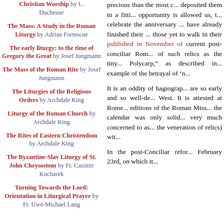Christian Worship by L. Duchesne
The Mass: A Study in the Roman Liturgy by Adrian Fortescue
The early liturgy: to the time of Gregory the Great by Josef Jungmann
The Mass of the Roman Rite by Josef Jungmann
The Liturgies of the Religious Orders by Archdale King
Liturgy of the Roman Church by Archdale King
The Rites of Eastern Christendom by Archdale King
The Byzantine-Slav Liturgy of St. John Chrysostom by Fr. Casimir Kucharek
Turning Towards the Lord: Orientation in Liturgical Prayer by Fr. Uwe-Michael Lang
precious than the most c... deposited them in a fitti... opportunity is allowed us, ... celebrate the anniversary ... have already finished their ... those yet to walk in their ... published in November of ... current post-conciliar Rom... of such relics as the tiny... Polycarp," as described in... example of the betrayal of '...
It is an oddity of hagiograp... are so early and so well-de... West. It is attested at Rome... editions of the Roman Miss... the calendar was only solid... very much concerned to as... the veneration of relics) wit...
In the post-Conciliar refo... February 23rd, on which it...